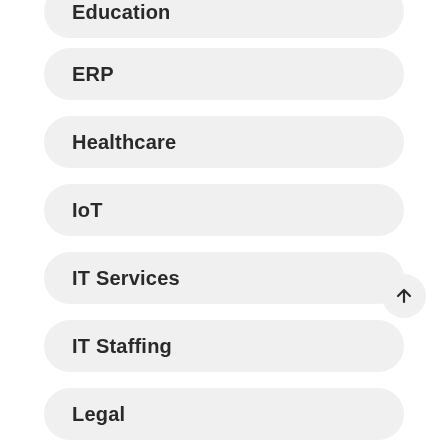Education
ERP
Healthcare
IoT
IT Services
IT Staffing
Legal
Machine learning